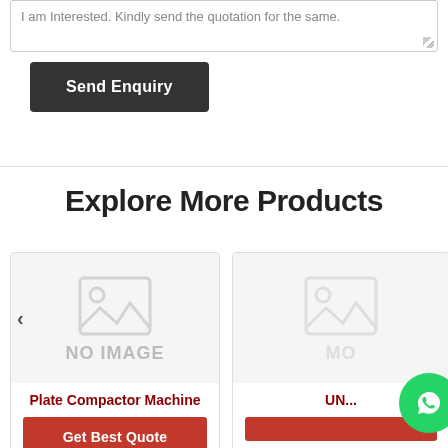I am interested. Kindly send the quotation for the same.
Send Enquiry
Explore More Products
[Figure (illustration): Product card with no image placeholder showing 'Plate Compactor Machine' with Get Best Quote button]
[Figure (illustration): Partial product card on the right with 'UNI...' text and WhatsApp button overlay]